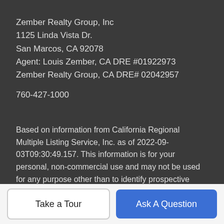Zember Realty Group, Inc
1125 Linda Vista Dr.
San Marcos, CA 92078
Agent: Louis Zember, CA DRE #01922973
Zember Realty Group, CA DRE# 02042957
760-427-1000
Based on information from California Regional Multiple Listing Service, Inc. as of 2022-09-03T09:30:49.157. This information is for your personal, non-commercial use and may not be used for any purpose other than to identify prospective properties you may be interested in purchasing. Display of MLS data is deemed reliable but is not guaranteed accurate by the MLS or Zember Realty Group. Licensed in the State of California, USA. This
Take a Tour
Ask A Question